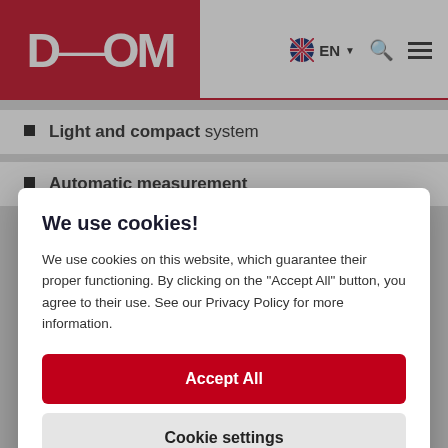[Figure (logo): DEOM logo in white text on red background]
EN  [search icon]  [menu icon]
Light and compact system
Automatic measurement
We use cookies!
We use cookies on this website, which guarantee their proper functioning. By clicking on the "Accept All" button, you agree to their use. See our Privacy Policy for more information.
Accept All
Cookie settings